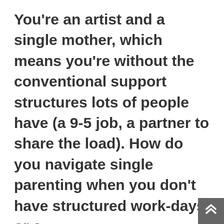You're an artist and a single mother, which means you're without the conventional support structures lots of people have (a 9-5 job, a partner to share the load). How do you navigate single parenting when you don't have structured work-days or a